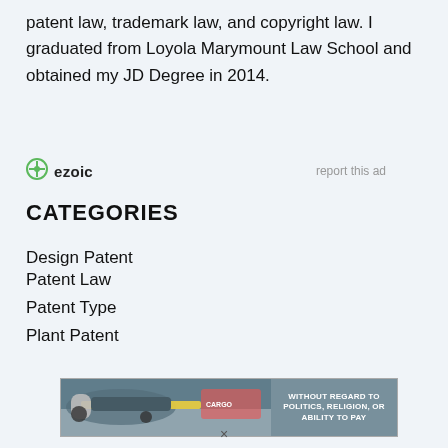patent law, trademark law, and copyright law. I graduated from Loyola Marymount Law School and obtained my JD Degree in 2014.
[Figure (other): Ezoic advertisement placeholder with logo and 'report this ad' link]
CATEGORIES
Design Patent
Patent Law
Patent Type
Plant Patent
[Figure (photo): Advertisement banner showing an airplane being loaded with cargo, with text overlay: WITHOUT REGARD TO POLITICS, RELIGION, OR ABILITY TO PAY]